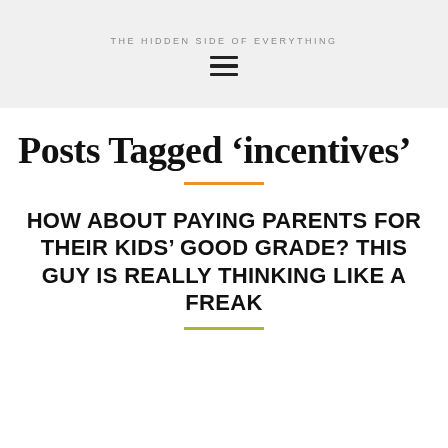THE HIDDEN SIDE OF EVERYTHING
Posts Tagged ‘incentives’
HOW ABOUT PAYING PARENTS FOR THEIR KIDS’ GOOD GRADE? THIS GUY IS REALLY THINKING LIKE A FREAK